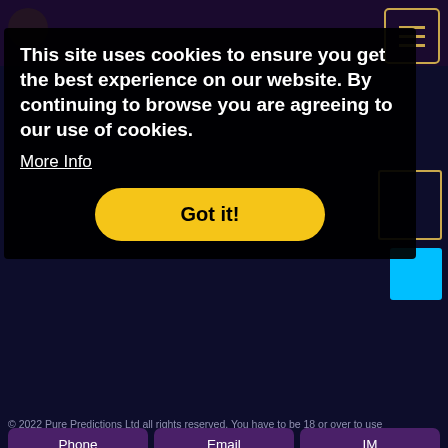[Figure (screenshot): Website screenshot showing a cookie consent banner overlay on a dark purple/navy website. The cookie banner has black background with white text. Behind it is visible a hamburger menu icon, cyan square button, purple footer strip with navigation links (Privacy Policy, Cookies, New Reader Registration, Sitemap), a Payments Secured by Paysafe section with payment card logos, copyright text, and Phone/Email/IM contact buttons at the bottom.]
This site uses cookies to ensure you get the best experience on our website. By continuing to browse you are agreeing to our use of cookies.
More Info
Got it!
Privacy Policy
Cookies
New Reader Registration
Sitemap
Payments Secured by:
[Figure (logo): Paysafe logo with VISA, VISA Debit, VISA Electron, Mastercard, and Maestro payment card logos below]
© 2022 Pure Predictions Ltd all rights reserved. You have to be 18 or over to use
Phone
Email
IM